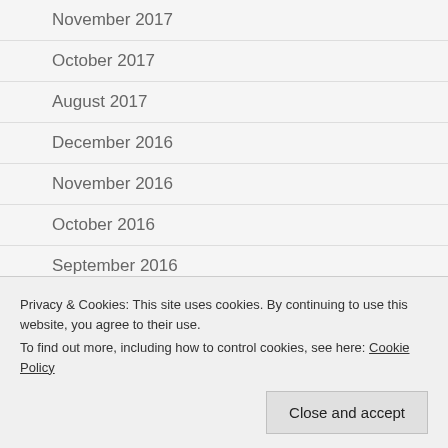November 2017
October 2017
August 2017
December 2016
November 2016
October 2016
September 2016
December 2015
November 2014
Privacy & Cookies: This site uses cookies. By continuing to use this website, you agree to their use.
To find out more, including how to control cookies, see here: Cookie Policy